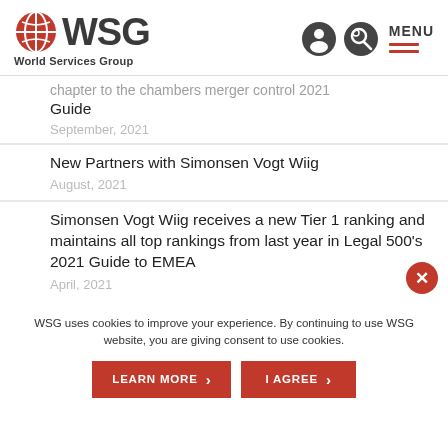[Figure (logo): WSG World Services Group logo with red globe icon]
chapter to the chambers merger control 2021 Guide
September, 2021
New Partners with Simonsen Vogt Wiig
August, 2021
Simonsen Vogt Wiig receives a new Tier 1 ranking and maintains all top rankings from last year in Legal 500's 2021 Guide to EMEA
April, 2021
WSG uses cookies to improve your experience. By continuing to use WSG website, you are giving consent to use cookies.
LEARN MORE
I AGREE